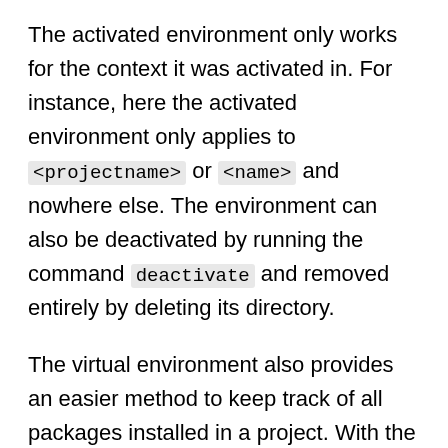The activated environment only works for the context it was activated in. For instance, here the activated environment only applies to <projectname> or <name> and nowhere else. The environment can also be deactivated by running the command deactivate and removed entirely by deleting its directory.
The virtual environment also provides an easier method to keep track of all packages installed in a project. With the activated environment, you can run the command pip freeze to list all installed packages.
You might also be wondering about virtual